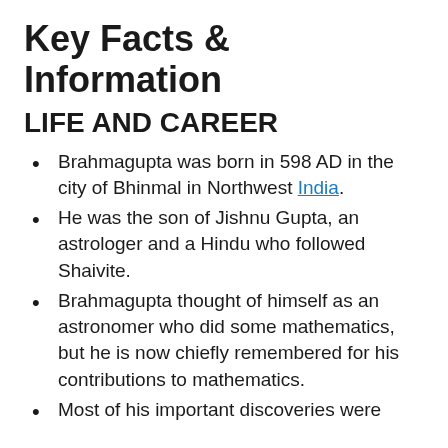Key Facts & Information
LIFE AND CAREER
Brahmagupta was born in 598 AD in the city of Bhinmal in Northwest India.
He was the son of Jishnu Gupta, an astrologer and a Hindu who followed Shaivite.
Brahmagupta thought of himself as an astronomer who did some mathematics, but he is now chiefly remembered for his contributions to mathematics.
Most of his important discoveries were